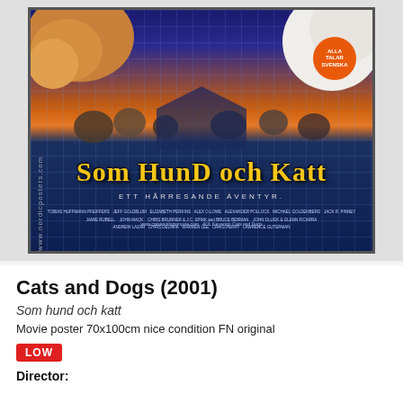[Figure (photo): Swedish movie poster for 'Cats and Dogs' (2001) titled 'Som Hund Och Katt - Ett Hårresande Äventyr'. Features dogs and cats in dramatic poses against a blue/orange background with grid lines. Includes an orange circular badge reading 'ALLA TALAR SVENSKA' and watermark 'www.nordicposters.com'.]
Cats and Dogs (2001)
Som hund och katt
Movie poster 70x100cm nice condition FN original
LOW
Director: